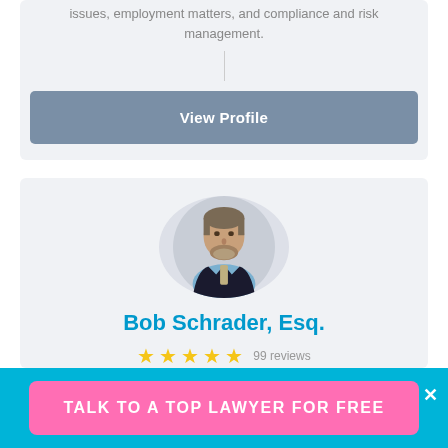issues, employment matters, and compliance and risk management.
View Profile
[Figure (photo): Headshot of Bob Schrader, Esq. — a middle-aged man with grey beard wearing a dark blazer and light blue shirt, circular crop]
Bob Schrader, Esq.
★★★★★ 99 reviews
TALK TO A TOP LAWYER FOR FREE